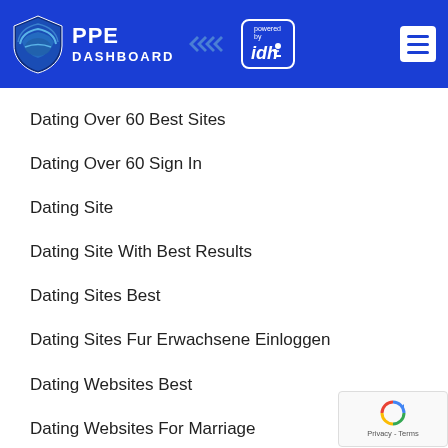[Figure (logo): PPE Dashboard logo with shield icon and 'powered by idh' badge, blue header with hamburger menu]
Dating Over 60 Best Sites
Dating Over 60 Sign In
Dating Site
Dating Site With Best Results
Dating Sites Best
Dating Sites Fur Erwachsene Einloggen
Dating Websites Best
Dating Websites For Marriage